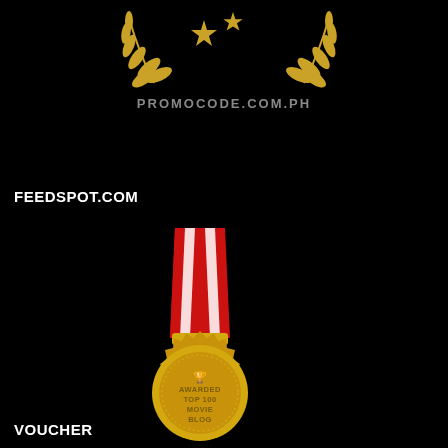[Figure (logo): Gold laurel wreath with two stars and text PROMOCODE.COM.PH]
FEEDSPOT.COM
[Figure (illustration): Gold award medal with red ribbon reading AWARDED TOP 100 MOVIE BLOG, with a trophy icon, on a black background with shadow]
VOUCHER